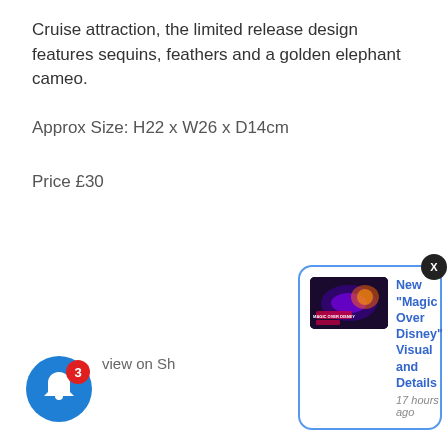Cruise attraction, the limited release design features sequins, feathers and a golden elephant cameo.
Approx Size: H22 x W26 x D14cm
Price £30
[Figure (screenshot): Blue notification bell icon with red badge showing '3']
view on Sh...
[Figure (screenshot): Notification card with blue border showing 'New "Magic Over Disney" Visual and Details' posted 17 hours ago, with a thumbnail image of a neon-lit Disney visual]
X close button